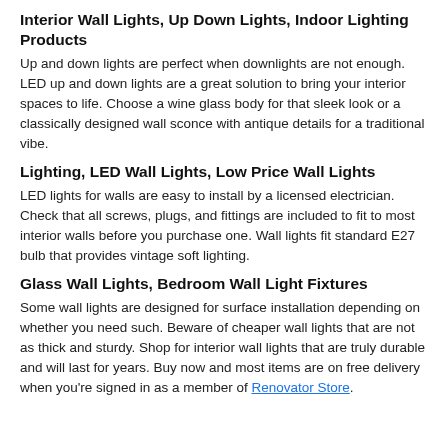perfect decorative lighting for your home.
Interior Wall Lights, Up Down Lights, Indoor Lighting Products
Up and down lights are perfect when downlights are not enough. LED up and down lights are a great solution to bring your interior spaces to life. Choose a wine glass body for that sleek look or a classically designed wall sconce with antique details for a traditional vibe.
Lighting, LED Wall Lights, Low Price Wall Lights
LED lights for walls are easy to install by a licensed electrician. Check that all screws, plugs, and fittings are included to fit to most interior walls before you purchase one. Wall lights fit standard E27 bulb that provides vintage soft lighting.
Glass Wall Lights, Bedroom Wall Light Fixtures
Some wall lights are designed for surface installation depending on whether you need such. Beware of cheaper wall lights that are not as thick and sturdy. Shop for interior wall lights that are truly durable and will last for years. Buy now and most items are on free delivery when you're signed in as a member of Renovator Store.